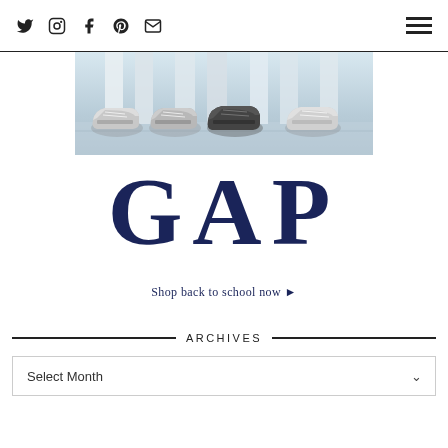Social media icons (Twitter, Instagram, Facebook, Pinterest, Email) and hamburger menu
[Figure (photo): Close-up photo of children's feet wearing sneakers/canvas shoes on a light background]
[Figure (logo): GAP logo in large dark navy serif font]
Shop back to school now ▶
ARCHIVES
Select Month